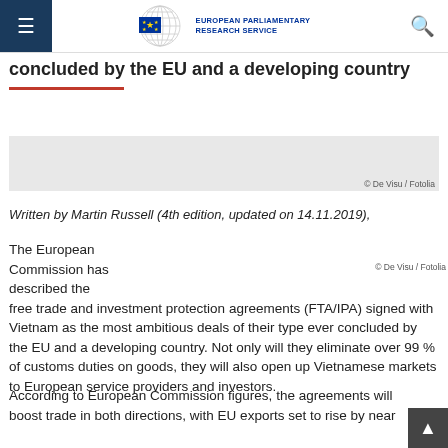European Parliamentary Research Service
concluded by the EU and a developing country
[Figure (photo): Photo placeholder with copyright credit © De Visu / Fotolia]
Written by Martin Russell (4th edition, updated on 14.11.2019),
The European Commission has described the free trade and investment protection agreements (FTA/IPA) signed with Vietnam as the most ambitious deals of their type ever concluded by the EU and a developing country. Not only will they eliminate over 99 % of customs duties on goods, they will also open up Vietnamese markets to European service providers and investors.
© De Visu / Fotolia
According to European Commission figures, the agreements will boost trade in both directions, with EU exports set to rise by near